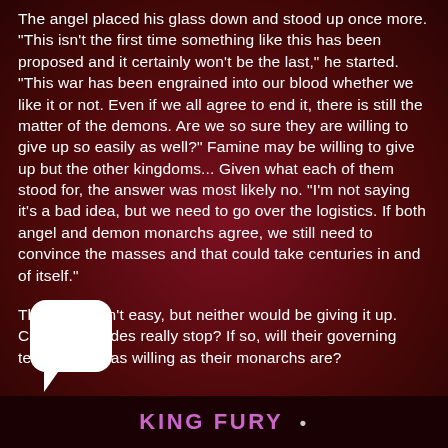The angel placed his glass down and stood up once more. "This isn't the first time something like this has been proposed and it certainly won't be the last," he started. "This war has been engrained into our blood whether we like it or not. Even if we all agree to end it, there is still the matter of the demons. Are we so sure they are willing to give up so easily as well?" Famine may be willing to give up but the other kingdoms... Given what each of them stood for, the answer was most likely no. "I'm not saying it's a bad idea, but we need to go over the logistics. If both angel and demon monarchs agree, we still need to convince the masses and that could take centuries in and of itself."
The war wasn't easy, but neither would be giving it up. Could both sides really stop? If so, will their governing territories be as willing as their monarchs are?
[Figure (illustration): White speech/chat bubble icon with rounded rectangle and downward-pointing tail at bottom-left]
KING FURY •